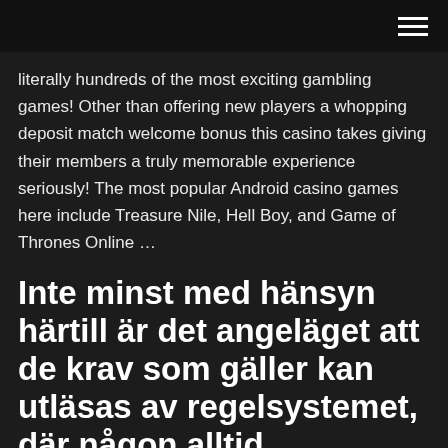literally hundreds of the most exciting gambling games! Other than offering new players a whopping deposit match welcome bonus this casino takes giving their members a truly memorable experience seriously! The most popular Android casino games here include Treasure Nile, Hell Boy, and Game of Thrones Online …
Inte minst med hänsyn härtill är det angeläget att de krav som gäller kan utläsas av regelsystemet, där någon alltid
What makes this online casino bonus even better though, is the fact that it's usually split up into three parts. This